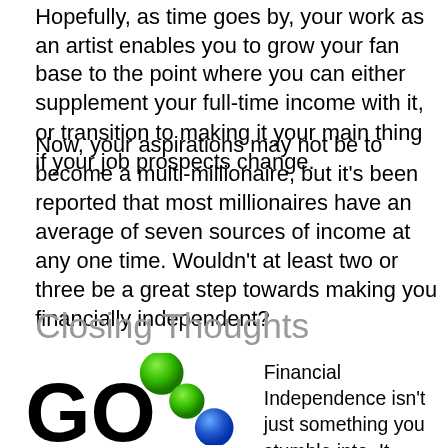Hopefully, as time goes by, your work as an artist enables you to grow your fan base to the point where you can either supplement your full-time income with it, or transition to making it your main thing if your job prospects change.
Now, your aspirations may not be to become a multi-millionaire, but it's been reported that most millionaires have an average of seven sources of income at any one time. Wouldn't at least two or three be a great step towards making you financially independent?
Closing Thoughts
[Figure (logo): GO logo with colorful spheres — large black bold 'GO' text with green and blue decorative spheres]
Financial Independence isn't just something you stumble into. It requires focus